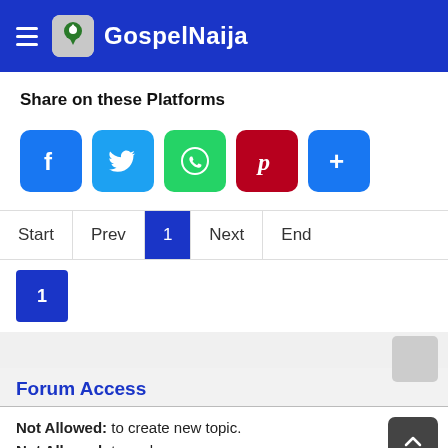GospelNaija
Share on these Platforms
[Figure (infographic): Social share buttons: Facebook (blue), Twitter (light blue), WhatsApp (green), Pinterest (red), More/Plus (blue)]
Start | Prev | 1 | Next | End — pagination navigation
1 — current page number box
Forum Access
Not Allowed: to create new topic.
Not Allowed: to reply.